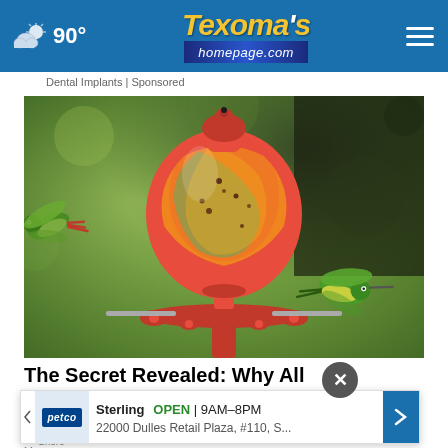Texoma's homepage.com — 90° weather, navigation header
Dental Implants | Sponsored
[Figure (photo): Two hummingbirds hovering near a colorful red, yellow, and green blown-glass hummingbird feeder against a blurred green background.]
The Secret Revealed: Why All Hummingbirds Go to M
Sterling  OPEN | 9AM–8PM
22000 Dulles Retail Plaza, #110, S...
Shere